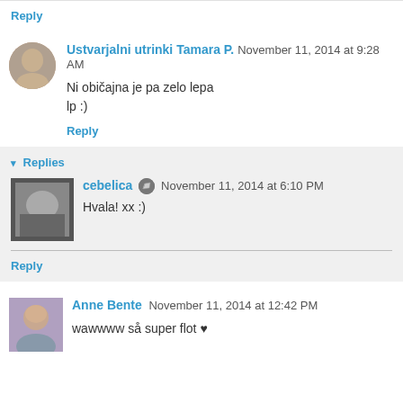Reply
Ustvarjalni utrinki Tamara P. November 11, 2014 at 9:28 AM
Ni običajna je pa zelo lepa
lp :)
Reply
Replies
cebelica November 11, 2014 at 6:10 PM
Hvala! xx :)
Reply
Anne Bente November 11, 2014 at 12:42 PM
wawwww så super flot ♥